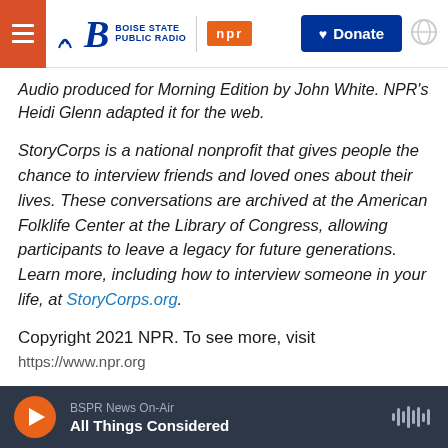Boise State Public Radio | NPR | Donate
Audio produced for Morning Edition by John White. NPR's Heidi Glenn adapted it for the web.
StoryCorps is a national nonprofit that gives people the chance to interview friends and loved ones about their lives. These conversations are archived at the American Folklife Center at the Library of Congress, allowing participants to leave a legacy for future generations. Learn more, including how to interview someone in your life, at StoryCorps.org.
Copyright 2021 NPR. To see more, visit https://www.npr.org
BSPR News On-Air | All Things Considered